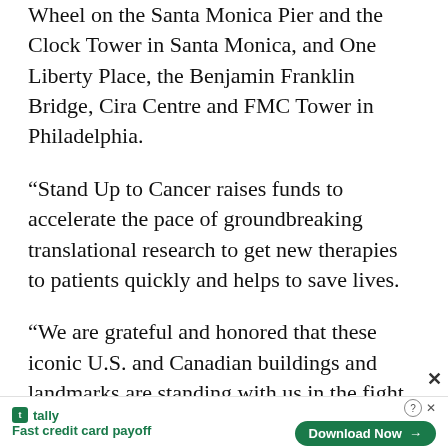Wheel on the Santa Monica Pier and the Clock Tower in Santa Monica, and One Liberty Place, the Benjamin Franklin Bridge, Cira Centre and FMC Tower in Philadelphia.
“Stand Up to Cancer raises funds to accelerate the pace of groundbreaking translational research to get new therapies to patients quickly and helps to save lives.
“We are grateful and honored that these iconic U.S. and Canadian buildings and landmarks are standing with us in the fight against cancer,” said Lisa Paulsen, Stand Up
[Figure (other): Advertisement banner for Tally app: logo with green icon, tagline 'Fast credit card payoff', Download Now button, help and close icons, and a close X button]